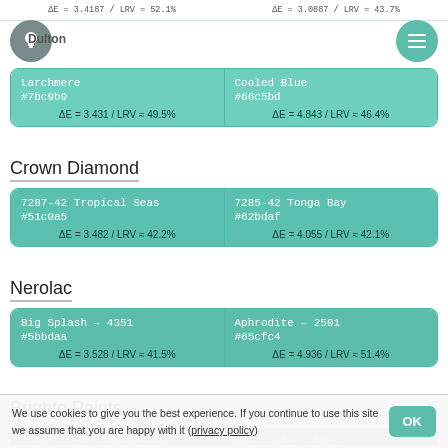ΔE = 3.4187 / LRV ≈ 52.1%   ΔE = 3.0887 / LRV ≈ 43.7%
Dulton
| Larchmere | Cooled Blue |
| --- | --- |
| #7bc9b9 | #66c5bd |
| ΔE = 3.431 / LRV ≈ 49.5% | ΔE = 4.843 / LRV ≈ 46.4% |
Crown Diamond
| 7287-42 Tropical Seas | 7285-42 Tonga Bay |
| --- | --- |
| #51c0a5 | #62bdaf |
| ΔE = 3.482 / LRV ≈ 42.2% | ΔE = 4.055 / LRV ≈ 42.1% |
Nerolac
| Big Splash – 4351 | Aphrodite – 2501 |
| --- | --- |
| #5bbdaa | #65cfc4 |
| ΔE = 3.528 / LRV ≈ 41.5% | ΔE = 4.936 / LRV ≈ 51.4% |
Brighto Paints
| 1-26-5 Sea Fascination | 6810 Green Stone |
| --- | --- |
|  |  |
|  |  |
We use cookies to give you the best experience. If you continue to use this site we assume that you are happy with it (privacy policy)